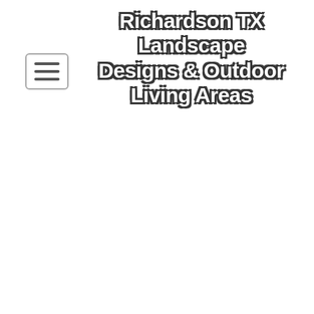[Figure (other): Hamburger menu button with three horizontal lines inside a rounded rectangle border]
Richardson TX Landscape Designs & Outdoor Living Areas